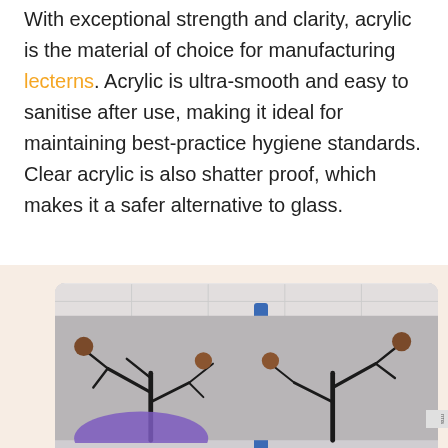With exceptional strength and clarity, acrylic is the material of choice for manufacturing lecterns. Acrylic is ultra-smooth and easy to sanitise after use, making it ideal for maintaining best-practice hygiene standards. Clear acrylic is also shatter proof, which makes it a safer alternative to glass.
[Figure (other): Orange rounded button with phone/call icon and text GET A QUOTE]
[Figure (photo): Photo of a decorative black tree sculpture with brown ball ornaments and a blue pole/stand, purple fabric visible at bottom, against a ceiling tiled background. Partial reCAPTCHA badge visible on right edge.]